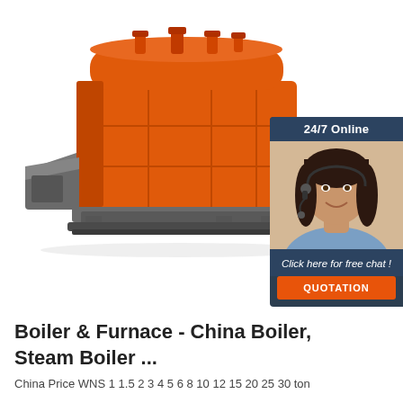[Figure (photo): Industrial orange steam boiler/furnace unit with grey base and feeder chute, shown from a three-quarter angle. Overlaid with a 24/7 online chat support widget showing a female customer service representative with a headset, and a 'Click here for free chat! QUOTATION' call-to-action button in orange.]
Boiler & Furnace - China Boiler, Steam Boiler ...
China Price WNS 1 1.5 2 3 4 5 6 8 10 12 15 20 25 30 ton